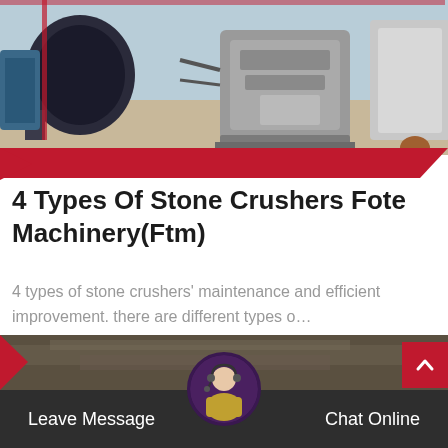[Figure (photo): Industrial stone crusher machinery - gray metal crushing equipment on a factory floor]
4 Types Of Stone Crushers Fote Machinery(Ftm)
4 types of stone crushers' maintenance and efficient improvement. there are different types o…
Read More
[Figure (photo): Bottom strip showing industrial machinery in dark tones]
Leave Message
Chat Online